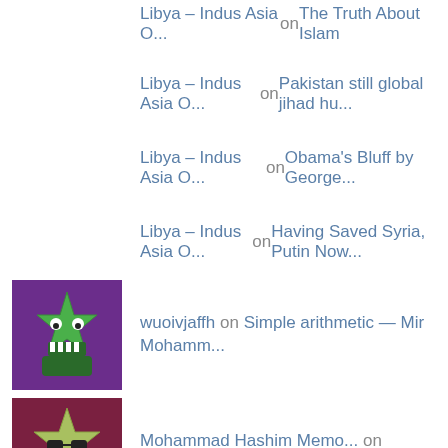Libya – Indus Asia O... on The Truth About Islam
Libya – Indus Asia O... on Pakistan still global jihad hu...
Libya – Indus Asia O... on Obama's Bluff by George...
Libya – Indus Asia O... on Having Saved Syria, Putin Now...
wuoivjaffh on Simple arithmetic — Mir Mohamm...
Mohammad Hashim Memo... on Laxman Komal's Autobiography L...
wieliczko.eu on Karachi is my city, my home
waterfallmagazine.co... on Dialects of Sindhi language